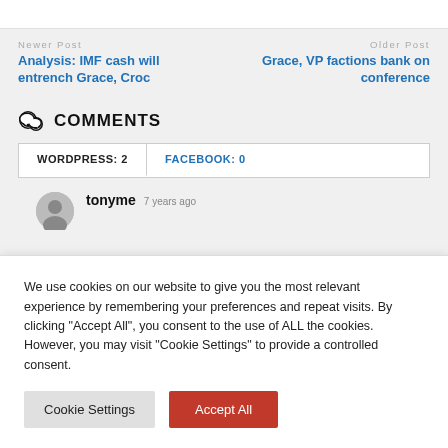Newer Post
Analysis: IMF cash will entrench Grace, Croc
Older Post
Grace, VP factions bank on conference
COMMENTS
WORDPRESS: 2
FACEBOOK: 0
tonyme  7 years ago
We use cookies on our website to give you the most relevant experience by remembering your preferences and repeat visits. By clicking “Accept All”, you consent to the use of ALL the cookies. However, you may visit "Cookie Settings" to provide a controlled consent.